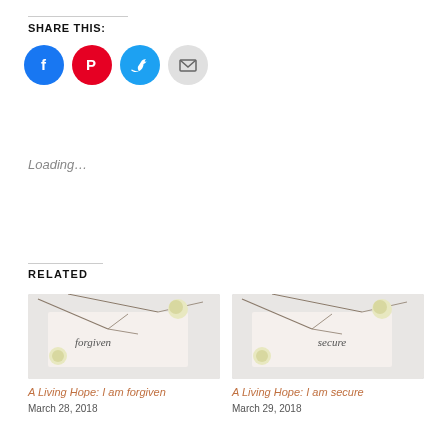SHARE THIS:
[Figure (infographic): Social sharing buttons: Facebook (blue circle), Pinterest (red circle), Twitter (blue circle), Email (grey circle)]
Loading...
RELATED
[Figure (photo): Photo of a card with the word 'forgiven' written in script, with flowers and branches]
A Living Hope: I am forgiven
March 28, 2018
[Figure (photo): Photo of a card with the word 'secure' written in script, with flowers and branches]
A Living Hope: I am secure
March 29, 2018